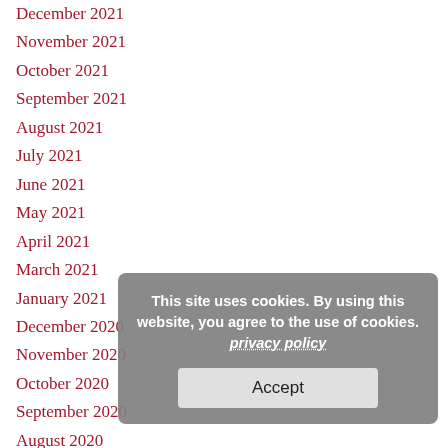December 2021
November 2021
October 2021
September 2021
August 2021
July 2021
June 2021
May 2021
April 2021
March 2021
January 2021
December 2020
November 2020
October 2020
September 2020
August 2020
July 2020
June 2020
May 2020
April 2020
March 2020
February 2020
January 2020
December 2019
This site uses cookies. By using this website, you agree to the use of cookies. privacy policy Accept